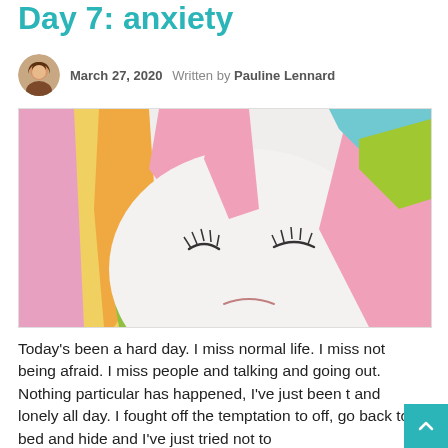Day 7: anxiety
March 27, 2020   Written by Pauline Lennard
[Figure (illustration): A colourful hand-drawn illustration of a unicorn face with closed eyes, rainbow-coloured mane in pink, yellow, orange, green and blue, and a sad or sleepy expression.]
Today's been a hard day. I miss normal life. I miss not being afraid. I miss people and talking and going out. Nothing particular has happened, I've just been t and lonely all day. I fought off the temptation to off, go back to bed and hide and I've just tried not to